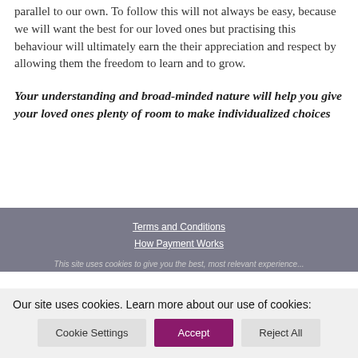parallel to our own. To follow this will not always be easy, because we will want the best for our loved ones but practising this behaviour will ultimately earn the their appreciation and respect by allowing them the freedom to learn and to grow.
Your understanding and broad-minded nature will help you give your loved ones plenty of room to make individualized choices
Terms and Conditions
How Payment Works
This site uses cookies to give you the best, most relevant experience...
Our site uses cookies. Learn more about our use of cookies:
Cookie Settings | Accept | Reject All